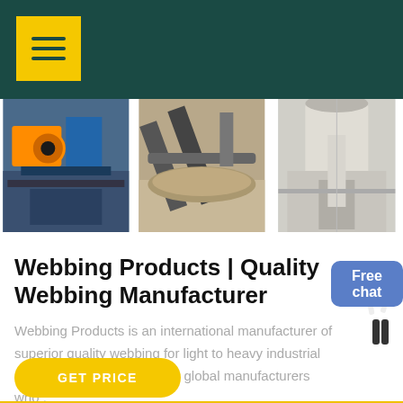[Figure (photo): Three industrial/mining equipment photos side by side: crusher machine, conveyor belt over gravel pile, and silo/storage facility interior]
Webbing Products | Quality Webbing Manufacturer
Webbing Products is an international manufacturer of superior quality webbing for light to heavy industrial applications and supplies to global manufacturers who .
[Figure (illustration): Free chat button with person figure — blue rounded rectangle with 'Free chat' text and a woman figure beside it]